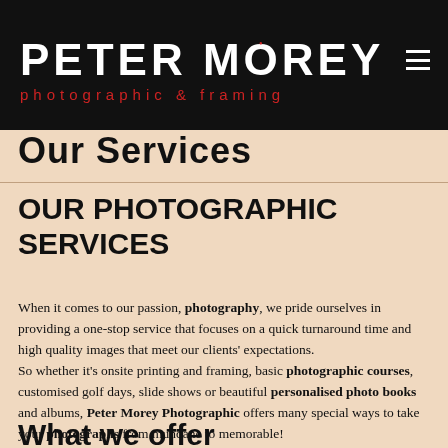[Figure (logo): Peter Morey Photographic & Framing logo on black background with white bold text and red subtitle]
Our Services
OUR PHOTOGRAPHIC SERVICES
When it comes to our passion, photography, we pride ourselves in providing a one-stop service that focuses on a quick turnaround time and high quality images that meet our clients' expectations. So whether it's onsite printing and framing, basic photographic courses, customised golf days, slide shows or beautiful personalised photo books and albums, Peter Morey Photographic offers many special ways to take your photographs from mundane to memorable! Here's what you can expect when you commission us to take your photographs.
What we offer